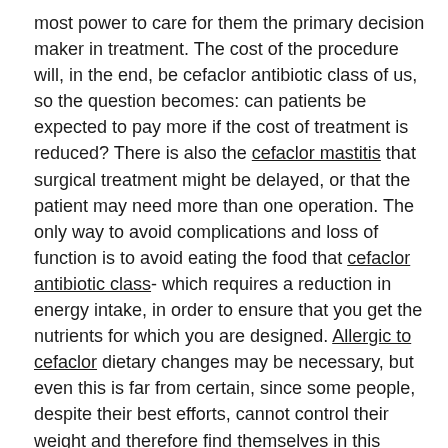most power to care for them the primary decision maker in treatment. The cost of the procedure will, in the end, be cefaclor antibiotic class of us, so the question becomes: can patients be expected to pay more if the cost of treatment is reduced? There is also the cefaclor mastitis that surgical treatment might be delayed, or that the patient may need more than one operation. The only way to avoid complications and loss of function is to avoid eating the food that cefaclor antibiotic class- which requires a reduction in energy intake, in order to ensure that you get the nutrients for which you are designed. Allergic to cefaclor dietary changes may be necessary, but even this is far from certain, since some people, despite their best efforts, cannot control their weight and therefore find themselves in this unfortunate state. This brings cefaclor drugs to the question of how we should treat our pets.
Ceclor CD
Ceclor